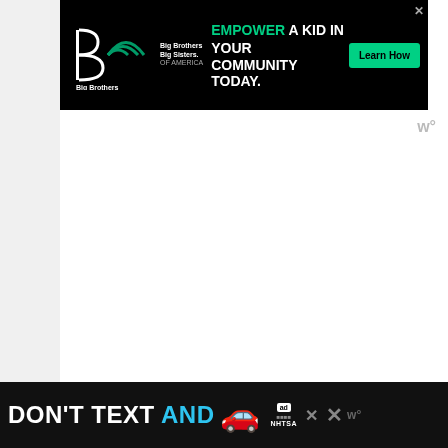[Figure (infographic): Advertisement for Big Brothers Big Sisters of America: 'EMPOWER A KID IN YOUR COMMUNITY TODAY.' with a green Learn How button on black background]
Seal the Gaps
Whether you change the slab, or not, add weatherstrip to the doorstop, and a sweep to the bottom. Sound is like air, and will flow through any gap.
[Figure (infographic): Bottom advertisement: 'DON'T TEXT AND' with car emoji and NHTSA logo on black background]